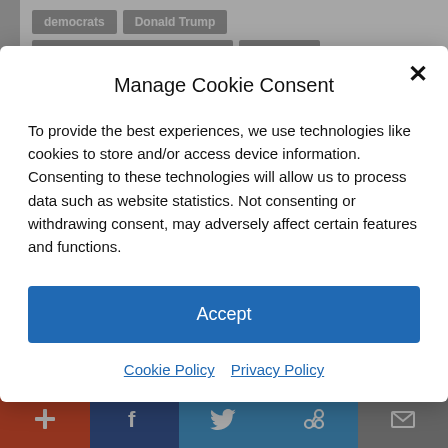democrats
Donald Trump
Faith and Freedom Conference
Joe Biden
Liz Cheney
Road to Majority 2022
Manage Cookie Consent
To provide the best experiences, we use technologies like cookies to store and/or access device information. Consenting to these technologies will allow us to process data such as website statistics. Not consenting or withdrawing consent, may adversely affect certain features and functions.
Accept
Cookie Policy   Privacy Policy
Listen Now